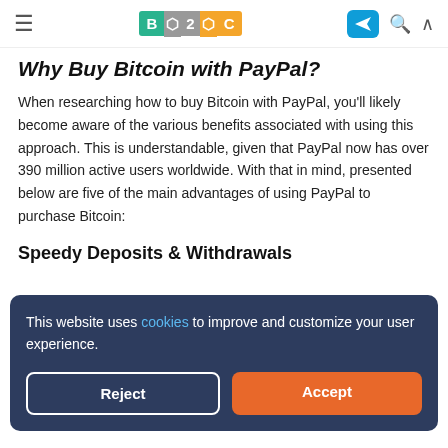B2C [navigation bar with logo, telegram, search, and up icons]
Why Buy Bitcoin with PayPal?
When researching how to buy Bitcoin with PayPal, you'll likely become aware of the various benefits associated with using this approach. This is understandable, given that PayPal now has over 390 million active users worldwide. With that in mind, presented below are five of the main advantages of using PayPal to purchase Bitcoin:
Speedy Deposits & Withdrawals
This website uses cookies to improve and customize your user experience.
your PayPal account to your trading balance and make